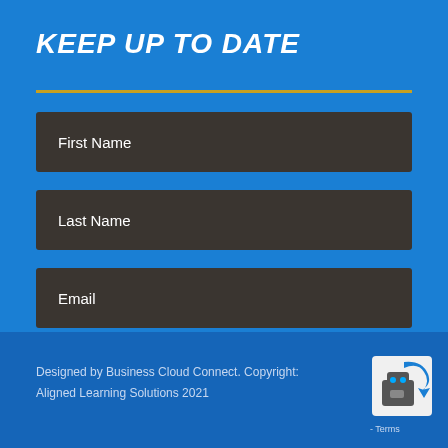KEEP UP TO DATE
First Name
Last Name
Email
SIGN UP
Designed by Business Cloud Connect. Copyright: Aligned Learning Solutions 2021